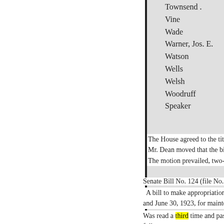Townsend .
Vine
Wade
Warner, Jos. E.
Watson
Wells
Welsh
Woodruff
Speaker
The House agreed to the titl
Mr. Dean moved that the bi
The motion prevailed, two-
Senate Bill No. 124 (file No. 260
A bill to make appropriations
and June 30, 1923, for maintena
Was read a third time and passed
follows: